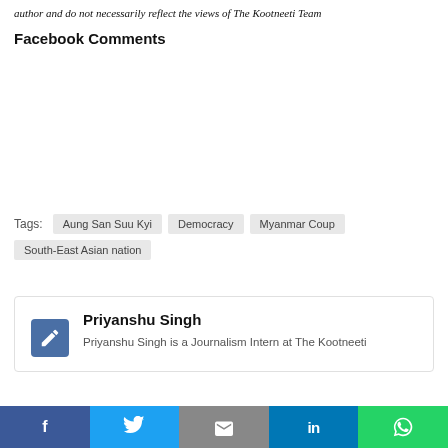author and do not necessarily reflect the views of The Kootneeti Team
Facebook Comments
Tags: Aung San Suu Kyi  Democracy  Myanmar Coup  South-East Asian nation
Priyanshu Singh
Priyanshu Singh is a Journalism Intern at The Kootneeti
Facebook  Twitter  Email  LinkedIn  WhatsApp